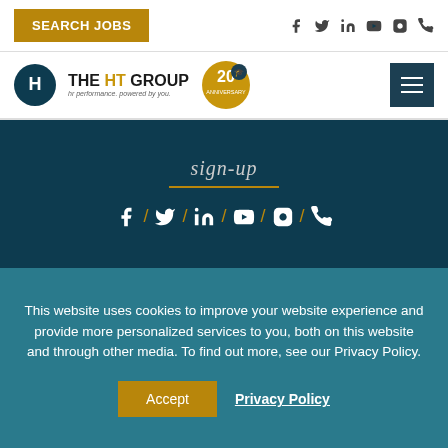SEARCH JOBS
[Figure (logo): The HT Group logo with circular H icon and 20th anniversary badge, plus hamburger menu button]
sign-up
[Figure (infographic): Social media icons row: Facebook, Twitter, LinkedIn, YouTube, Instagram, Phone separated by gold slashes]
This website uses cookies to improve your website experience and provide more personalized services to you, both on this website and through other media. To find out more, see our Privacy Policy.
Accept
Privacy Policy